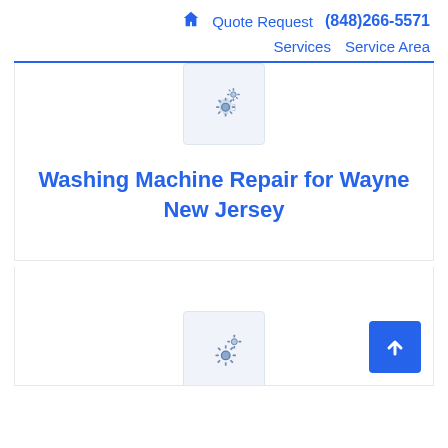🏠 Quote Request  (848)266-5571   Services  Service Area
[Figure (illustration): Gear/settings icon in a light blue rounded square box]
Washing Machine Repair for Wayne New Jersey
[Figure (illustration): Gear/settings icon in a light blue rounded square box (partially visible at bottom of page)]
[Figure (illustration): Back to top button - blue square with upward chevron arrow]